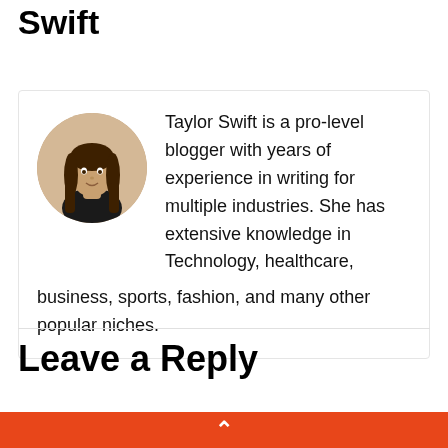Swift
[Figure (photo): Circular author photo of Taylor Swift, a woman with long dark hair wearing a dark top]
Taylor Swift is a pro-level blogger with years of experience in writing for multiple industries. She has extensive knowledge in Technology, healthcare, business, sports, fashion, and many other popular niches.
Leave a Reply
Your email address will not be published. Required fields are